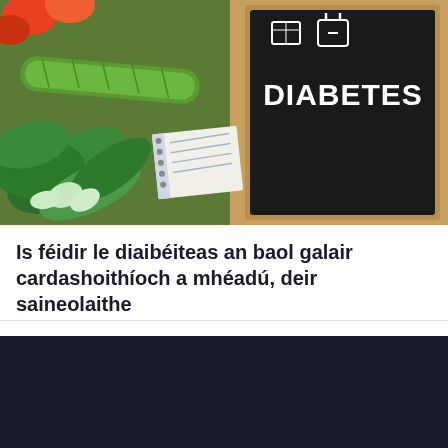[Figure (photo): Photo showing vegetables (bok choy, cucumber, pepper) beside a chalkboard with 'DIABETES' written in white chalk lettering, with sugar cube icons above, and a spiral notebook on a wooden surface.]
Is féidir le diaibéiteas an baol galair cardashoithíoch a mhéadú, deir saineolaithe